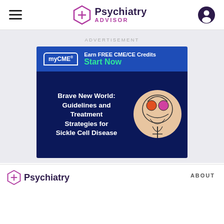Psychiatry ADVISOR
ADVERTISEMENT
[Figure (infographic): myCME advertisement banner: 'Earn FREE CME/CE Credits - Start Now' header with myCME logo, and 'Brave New World: Guidelines and Treatment Strategies for Sickle Cell Disease' with an artistic brain illustration on dark navy background.]
Psychiatry ABOUT